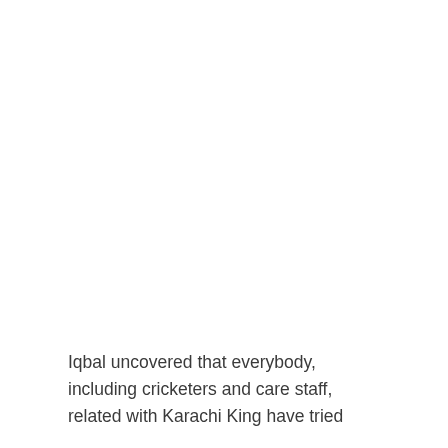Iqbal uncovered that everybody, including cricketers and care staff, related with Karachi King have tried